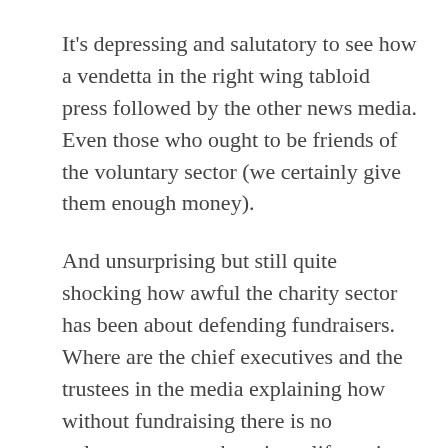It's depressing and salutatory to see how a vendetta in the right wing tabloid press followed by the other news media. Even those who ought to be friends of the voluntary sector (we certainly give them enough money).
And unsurprising but still quite shocking how awful the charity sector has been about defending fundraisers. Where are the chief executives and the trustees in the media explaining how without fundraising there is no voluntary sector, there is no life saving and changing work? Why do I hear about large charities leaving the response to media enquiries about fundraising techniques to direct marketers low down the organisational hierarchy? Why are the responses to stories which are clearly